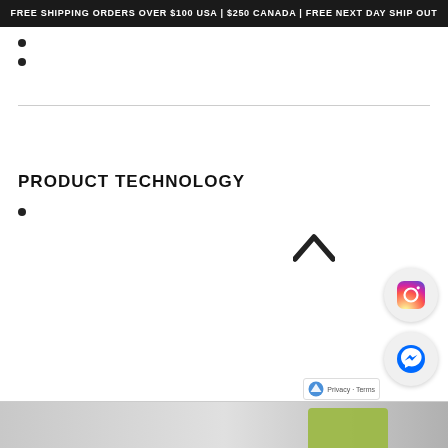FREE SHIPPING ORDERS OVER $100 USA | $250 CANADA | FREE NEXT DAY SHIP OUT
PRODUCT TECHNOLOGY
[Figure (illustration): Instagram logo icon inside a white circle with shadow]
[Figure (illustration): Facebook Messenger logo icon inside a white circle with shadow]
[Figure (illustration): reCAPTCHA badge with Privacy and Terms text]
[Figure (illustration): Upward chevron/caret navigation arrow in dark color]
[Figure (photo): Partial product image visible at bottom of page]